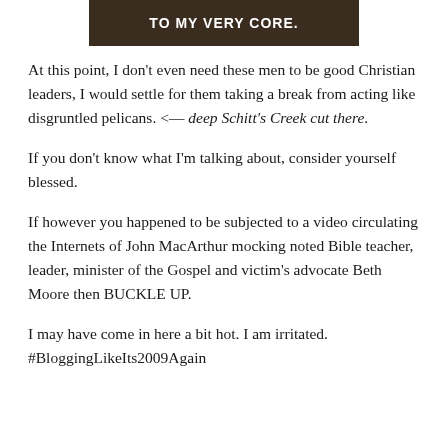[Figure (photo): Dark banner image with white bold text reading 'TO MY VERY CORE.']
At this point, I don't even need these men to be good Christian leaders, I would settle for them taking a break from acting like disgruntled pelicans. <— deep Schitt's Creek cut there.
If you don't know what I'm talking about, consider yourself blessed.
If however you happened to be subjected to a video circulating the Internets of John MacArthur mocking noted Bible teacher, leader, minister of the Gospel and victim's advocate Beth Moore then BUCKLE UP.
I may have come in here a bit hot. I am irritated. #BloggingLikeIts2009Again